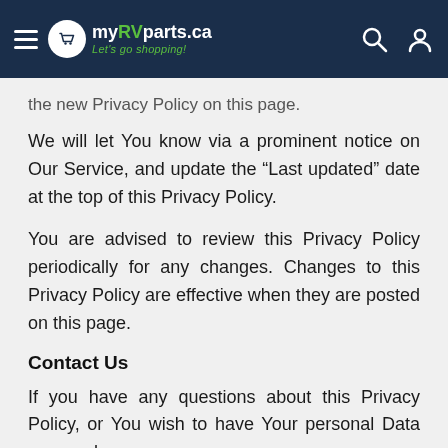myRVparts.ca — Let's go shopping!
the new Privacy Policy on this page.
We will let You know via a prominent notice on Our Service, and update the “Last updated” date at the top of this Privacy Policy.
You are advised to review this Privacy Policy periodically for any changes. Changes to this Privacy Policy are effective when they are posted on this page.
Contact Us
If you have any questions about this Privacy Policy, or You wish to have Your personal Data removed